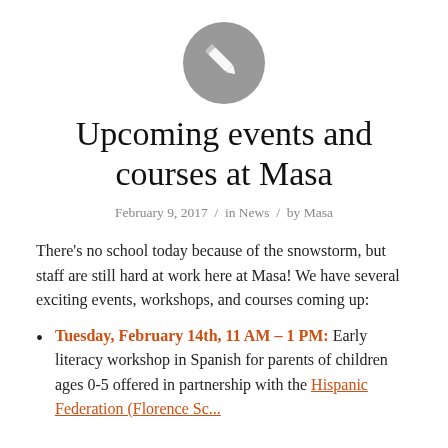[Figure (logo): Gray circle with a white pencil icon]
Upcoming events and courses at Masa
February 9, 2017  /  in News  /  by Masa
There's no school today because of the snowstorm, but staff are still hard at work here at Masa! We have several exciting events, workshops, and courses coming up:
Tuesday, February 14th, 11 AM – 1 PM: Early literacy workshop in Spanish for parents of children ages 0-5 offered in partnership with the Hispanic Federation (Florence Sc...